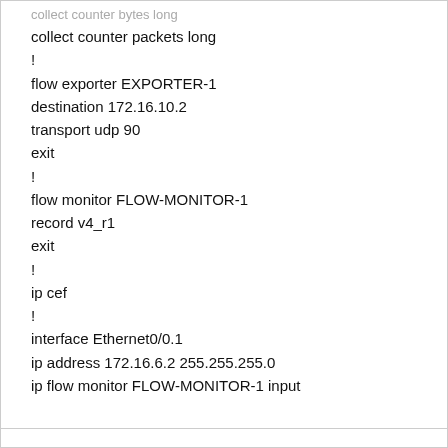collect counter bytes long
collect counter packets long
!
flow exporter EXPORTER-1
destination 172.16.10.2
transport udp 90
exit
!
flow monitor FLOW-MONITOR-1
record v4_r1
exit
!
ip cef
!
interface Ethernet0/0.1
ip address 172.16.6.2 255.255.255.0
ip flow monitor FLOW-MONITOR-1 input